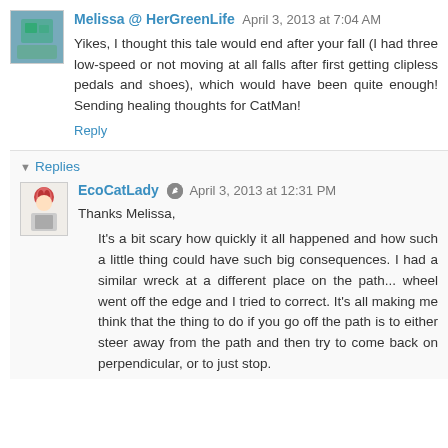Melissa @ HerGreenLife  April 3, 2013 at 7:04 AM
Yikes, I thought this tale would end after your fall (I had three low-speed or not moving at all falls after first getting clipless pedals and shoes), which would have been quite enough! Sending healing thoughts for CatMan!
Reply
Replies
EcoCatLady  April 3, 2013 at 12:31 PM
Thanks Melissa,
It's a bit scary how quickly it all happened and how such a little thing could have such big consequences. I had a similar wreck at a different place on the path... wheel went off the edge and I tried to correct. It's all making me think that the thing to do if you go off the path is to either steer away from the path and then try to come back on perpendicular, or to just stop.